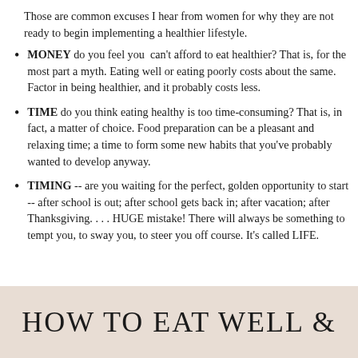Those are common excuses I hear from women for why they are not ready to begin implementing a healthier lifestyle.
MONEY do you feel you can't afford to eat healthier? That is, for the most part a myth. Eating well or eating poorly costs about the same. Factor in being healthier, and it probably costs less.
TIME do you think eating healthy is too time-consuming? That is, in fact, a matter of choice. Food preparation can be a pleasant and relaxing time; a time to form some new habits that you've probably wanted to develop anyway.
TIMING -- are you waiting for the perfect, golden opportunity to start -- after school is out; after school gets back in; after vacation; after Thanksgiving. . . . HUGE mistake! There will always be something to tempt you, to sway you, to steer you off course. It's called LIFE.
HOW TO EAT WELL &